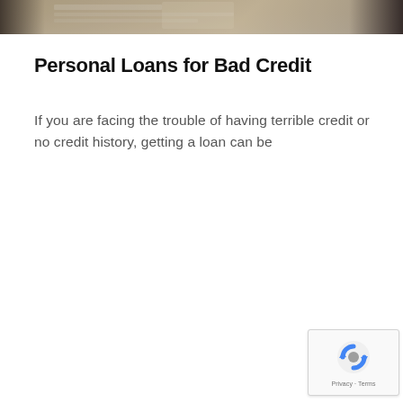[Figure (photo): Partial view of a photo showing documents or papers on a desk surface, cropped at the top of the page]
Personal Loans for Bad Credit
If you are facing the trouble of having terrible credit or no credit history, getting a loan can be
[Figure (other): Google reCAPTCHA widget with spinning arrow logo and Privacy - Terms text at bottom right corner]